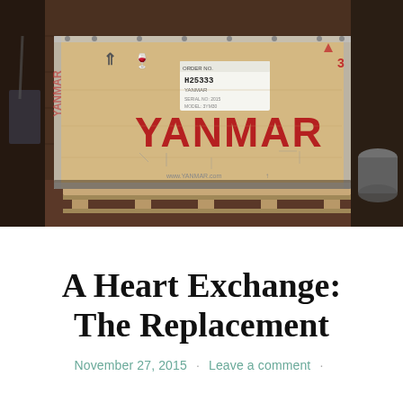[Figure (photo): A large wooden shipping crate branded with YANMAR in red letters, sitting on a wooden pallet inside a warehouse or barn. The crate has shipping labels, fragile symbols, and handling icons on it.]
A Heart Exchange: The Replacement
November 27, 2015 · Leave a comment ·